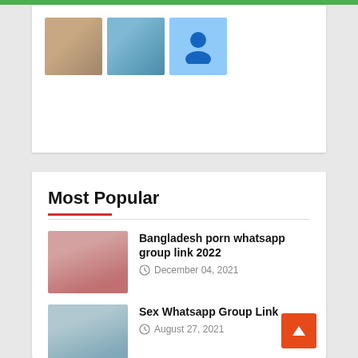[Figure (photo): Three thumbnail images in a row: a person outdoors, a building/house, and a person placeholder icon]
Follow
Most Popular
Bangladesh porn whatsapp group link 2022
December 04, 2021
Sex Whatsapp Group Link
August 27, 2021
Desi MMS Latest Whatsapp Group Links
October 22, 2021